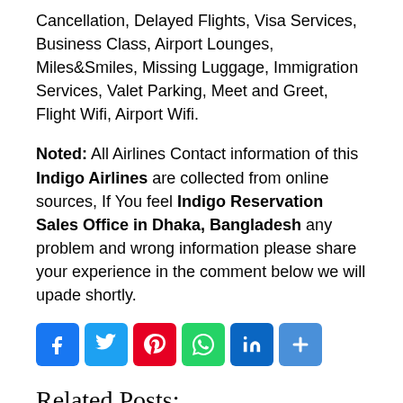Cancellation, Delayed Flights, Visa Services, Business Class, Airport Lounges, Miles&Smiles, Missing Luggage, Immigration Services, Valet Parking, Meet and Greet, Flight Wifi, Airport Wifi.
Noted: All Airlines Contact information of this Indigo Airlines are collected from online sources, If You feel Indigo Reservation Sales Office in Dhaka, Bangladesh any problem and wrong information please share your experience in the comment below we will upade shortly.
[Figure (infographic): Social media share buttons: Facebook, Twitter, Pinterest, WhatsApp, LinkedIn, Share]
Related Posts: